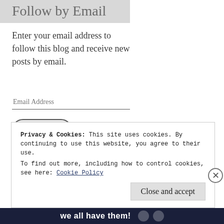Follow by Email
Enter your email address to follow this blog and receive new posts by email.
Privacy & Cookies: This site uses cookies. By continuing to use this website, you agree to their use. To find out more, including how to control cookies, see here: Cookie Policy
Close and accept
we all have them!